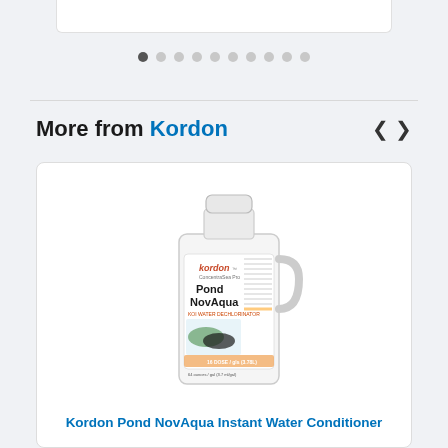[Figure (screenshot): Top portion of a product card showing a gray/white box (truncated at top)]
[Figure (other): Carousel navigation dots — 10 dots, first one dark/active, rest light gray]
More from Kordon
[Figure (photo): Photo of a white gallon jug of Kordon Pond NovAqua Instant Water Conditioner with product label showing fish/koi imagery]
Kordon Pond NovAqua Instant Water Conditioner